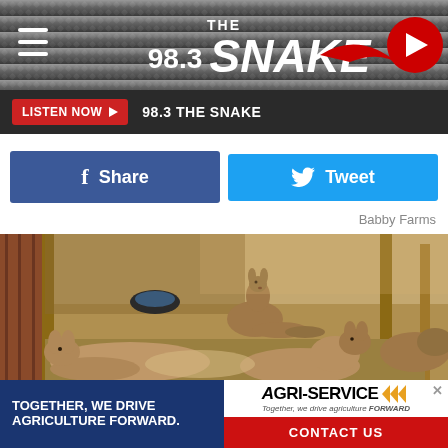[Figure (logo): 98.3 The Snake radio station logo on metallic grey header with hamburger menu and play button]
LISTEN NOW  98.3 THE SNAKE
Share
Tweet
Babby Farms
[Figure (photo): Several kangaroos resting on ground inside a farm enclosure with wooden posts and corrugated metal shelter]
[Figure (infographic): Agri-Service advertisement banner: Together, we drive agriculture forward. Contact Us.]